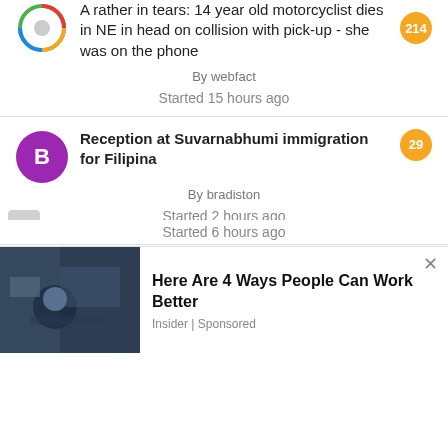A rather in tears: 14 year old motorcyclist dies in NE in head on collision with pick-up - she was on the phone
By webfact
Started 15 hours ago
Reception at Suvarnabhumi immigration for Filipina
By bradiston
Started 2 hours ago
Should Expats Be Able to Speak Thai
By NickyLouie
Started 6 hours ago
[Figure (screenshot): Advertisement banner: photo of person working at desk with text 'Here Are 4 Ways People Can Work Better' by Insider | Sponsored]